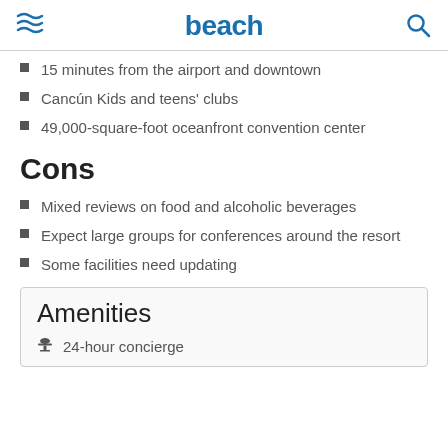beach
15 minutes from the airport and downtown
Cancún Kids and teens' clubs
49,000-square-foot oceanfront convention center
Cons
Mixed reviews on food and alcoholic beverages
Expect large groups for conferences around the resort
Some facilities need updating
Amenities
24-hour concierge